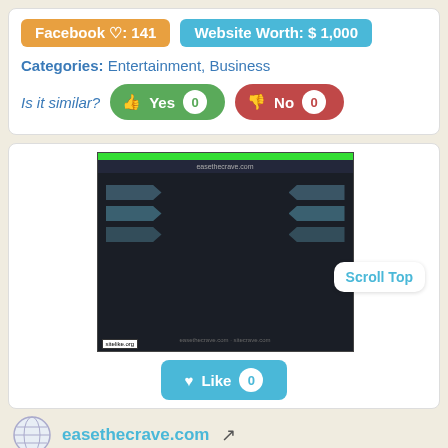Facebook ♡: 141
Website Worth: $ 1,000
Categories: Entertainment, Business
Is it similar?
Yes 0
No 0
[Figure (screenshot): Screenshot of easethecrave.com website with dark background, green top bar, navigation arrows, and sitelike.org watermark]
Scroll Top
Like 0
easethecrave.com